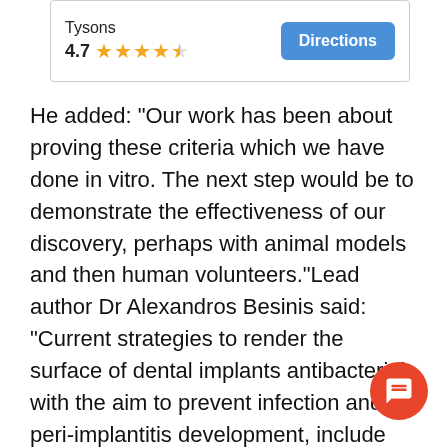[Figure (screenshot): Google Maps style card showing 'Tysons' location with 4.7 star rating and a blue Directions button]
He added: "Our work has been about proving these criteria which we have done in vitro. The next step would be to demonstrate the effectiveness of our discovery, perhaps with animal models and then human volunteers."Lead author Dr Alexandros Besinis said: "Current strategies to render the surface of dental implants antibacterial with the aim to prevent infection and peri-implantitis development, include application of antimicrobial coatings loaded with antibiotics or chlorhexidine."